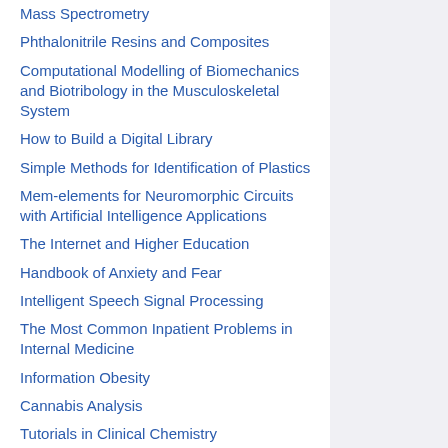Mass Spectrometry
Phthalonitrile Resins and Composites
Computational Modelling of Biomechanics and Biotribology in the Musculoskeletal System
How to Build a Digital Library
Simple Methods for Identification of Plastics
Mem-elements for Neuromorphic Circuits with Artificial Intelligence Applications
The Internet and Higher Education
Handbook of Anxiety and Fear
Intelligent Speech Signal Processing
The Most Common Inpatient Problems in Internal Medicine
Information Obesity
Cannabis Analysis
Tutorials in Clinical Chemistry
The Technology of Wafers and Waffles
Biomechanics of Coronary Atherosclerotic Plaque
Solid-Phase Extraction